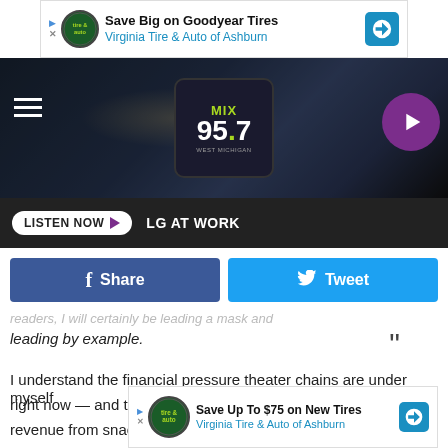[Figure (screenshot): Top banner advertisement: Save Big on Goodyear Tires, Virginia Tire & Auto of Ashburn]
[Figure (screenshot): MIX 95.7 West Michigan radio station header with bridge background image, hamburger menu, logo, and purple play button]
[Figure (screenshot): Listen Now button bar with LG AT WORK text]
[Figure (screenshot): Facebook Share and Twitter Tweet social media buttons]
readers, I will certainly be leading a mask and leading by example.
I understand the financial pressure theater chains are under right now — and the fact that they earn a large portion of their revenue from snack sales. It's hard to convince people to buy snacks when you also require them to wear masks at all times. But I'm not concerned about “politicized” public health
[Figure (screenshot): Bottom banner advertisement: Save Up To $75 on New Tires, Virginia Tire & Auto of Ashburn]